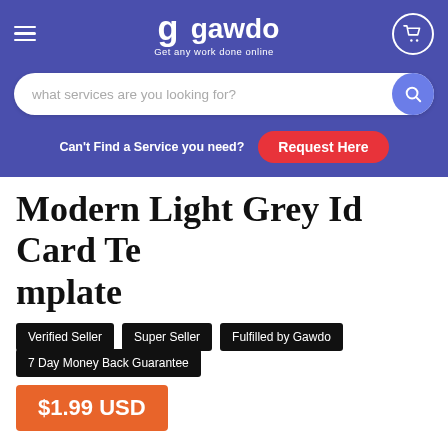[Figure (logo): Gawdo logo with hamburger menu, cart icon, and tagline 'Get any work done online' on purple background]
what services are you looking for?
Can't Find a Service you need? Request Here
Modern Light Grey Id Card Template
Verified Seller
Super Seller
Fulfilled by Gawdo
7 Day Money Back Guarantee
$1.99 USD